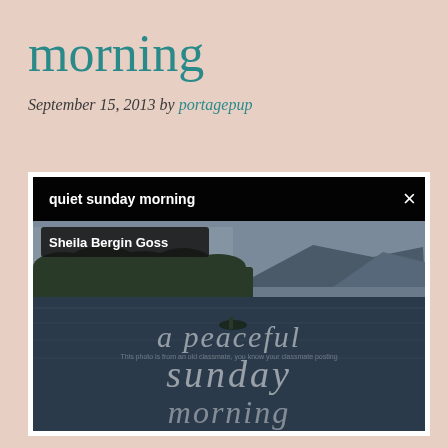morning
September 15, 2013 by portagepup
[Figure (screenshot): A video player showing a lake scene at dusk with overlaid italic text reading 'a peaceful sunday morning'. The video player has a dark top bar with the title 'quiet sunday morning' and a close (×) button. An author tag reads 'Sheila Bergin Goss'. The lake scene shows calm water with forested hills and mountains in the background under a cloudy sky, with a small boat visible on the water.]